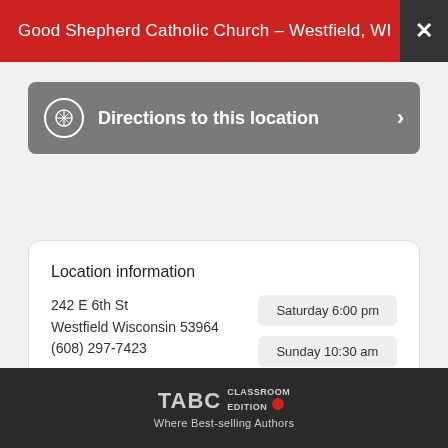Good Shepherd Catholic Church – Westfield, WI
Directions to this location
Location information
242 E 6th St
Westfield Wisconsin 53964
(608) 297-7423
Saturday 6:00 pm
Sunday 10:30 am
[Figure (screenshot): TABC Classroom Edition advertisement banner with logo and 'Where Best-selling Authors' text on dark background]